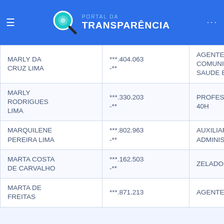PORTAL DA TRANSPARÊNCIA
| Nome | CPF | Cargo |
| --- | --- | --- |
| MARLY DA CRUZ LIMA | ***.404.063-** | AGENTE COMUNIT SAUDE E |
| MARLY RODRIGUES LIMA | ***.330.203-** | PROFESS 40H |
| MARQUILENE PEREIRA LIMA | ***.802.963-** | AUXILIAR ADMINIS |
| MARTA COSTA DE CARVALHO | ***.162.503-** | ZELADOR |
| MARTA DE FREITAS | ***.871.213 | AGENTE |